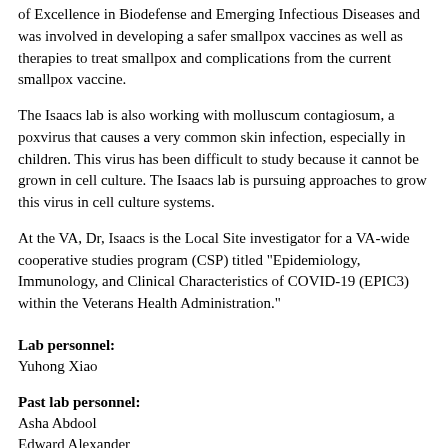of Excellence in Biodefense and Emerging Infectious Diseases and was involved in developing a safer smallpox vaccines as well as therapies to treat smallpox and complications from the current smallpox vaccine.
The Isaacs lab is also working with molluscum contagiosum, a poxvirus that causes a very common skin infection, especially in children. This virus has been difficult to study because it cannot be grown in cell culture. The Isaacs lab is pursuing approaches to grow this virus in cell culture systems.
At the VA, Dr, Isaacs is the Local Site investigator for a VA-wide cooperative studies program (CSP) titled "Epidemiology, Immunology, and Clinical Characteristics of COVID-19 (EPIC3) within the Veterans Health Administration."
Lab personnel:
Yuhong Xiao
Past lab personnel:
Asha Abdool
Edward Alexander
Jeanie Chu
Matt Cohen